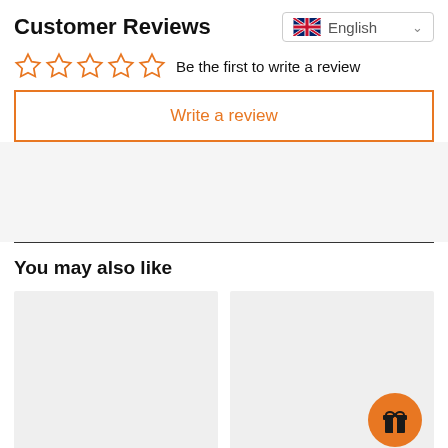Customer Reviews
English
Be the first to write a review
Write a review
You may also like
[Figure (illustration): Two product placeholder cards side by side; the right card has an orange circular badge with a gift/present icon]